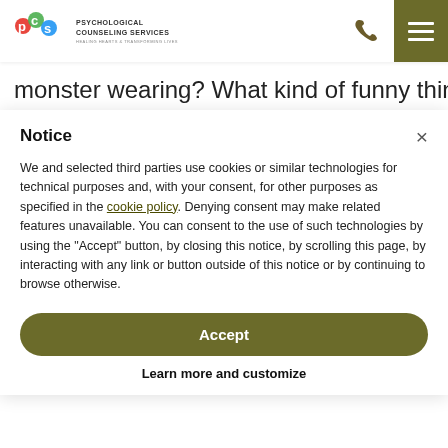PCS PSYCHOLOGICAL COUNSELING SERVICES — HEALING HEARTS & TRANSFORMING LIVES
monster wearing? What kind of funny things does this
Notice
We and selected third parties use cookies or similar technologies for technical purposes and, with your consent, for other purposes as specified in the cookie policy. Denying consent may make related features unavailable. You can consent to the use of such technologies by using the "Accept" button, by closing this notice, by scrolling this page, by interacting with any link or button outside of this notice or by continuing to browse otherwise.
Accept
Learn more and customize